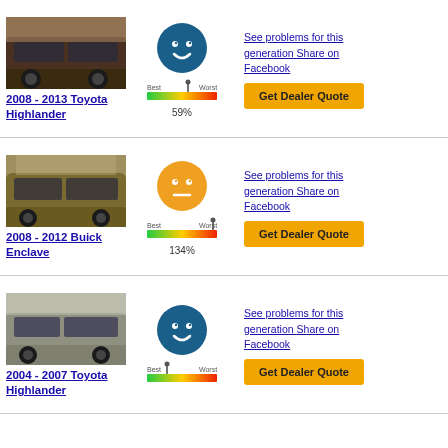[Figure (photo): 2008-2013 Toyota Highlander SUV, dark brown/black color]
2008 - 2013 Toyota Highlander
[Figure (infographic): Happy face icon (blue) with reliability gauge showing 59% - closer to Best end]
See problems for this generation Share on Facebook
Get Dealer Quote
[Figure (photo): 2008-2012 Buick Enclave SUV, brown/gold color]
2008 - 2012 Buick Enclave
[Figure (infographic): Neutral face icon (orange) with reliability gauge showing 134% - at Worst end]
See problems for this generation Share on Facebook
Get Dealer Quote
[Figure (photo): 2004-2007 Toyota Highlander SUV, silver/beige color]
2004 - 2007 Toyota Highlander
[Figure (infographic): Happy face icon (blue) with reliability gauge showing Best/Worst scale]
See problems for this generation Share on Facebook
Get Dealer Quote